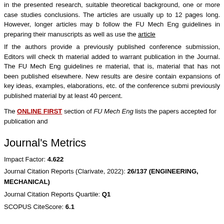in the presented research, suitable theoretical background, one or more case studies conclusions. The articles are usually up to 12 pages long. However, longer articles may b follow the FU Mech Eng guidelines in preparing their manuscripts as well as use the article
If the authors provide a previously published conference submission, Editors will check th material added to warrant publication in the Journal. The FU Mech Eng guidelines re material, that is, material that has not been published elsewhere. New results are desire contain expansions of key ideas, examples, elaborations, etc. of the conference submi previously published material by at least 40 percent.
The ONLINE FIRST section of FU Mech Eng lists the papers accepted for publication and
Journal's Metrics
Impact Factor: 4.622
Journal Citation Reports (Clarivate, 2022): 26/137 (ENGINEERING, MECHANICAL)
Journal Citation Reports Quartile: Q1
SCOPUS CiteScore: 6.1
Vol 20, No 2 (2022)
August 2022
Table of Contents